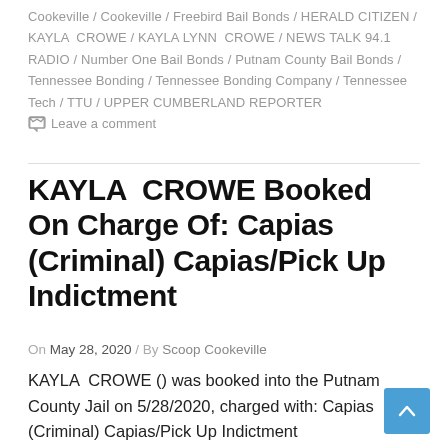Cookeville / Cookeville / Freebird Bail Bonds / HERALD CITIZEN / KAYLA  CROWE / KAYLA LYNN  CROWE / NEWS TALK 94.1 RADIO / Number One Bail Bonds / Putnam County Bail Bonds / Tennessee Bonding / Tennessee Bonding Company / Tennessee Tech / TTU / UPPER CUMBERLAND REPORTER   Leave a comment
KAYLA  CROWE Booked On Charge Of: Capias (Criminal) Capias/Pick Up Indictment
On May 28, 2020 / By Scoop Cookeville
KAYLA  CROWE () was booked into the Putnam County Jail on 5/28/2020, charged with: Capias (Criminal) Capias/Pick Up Indictment